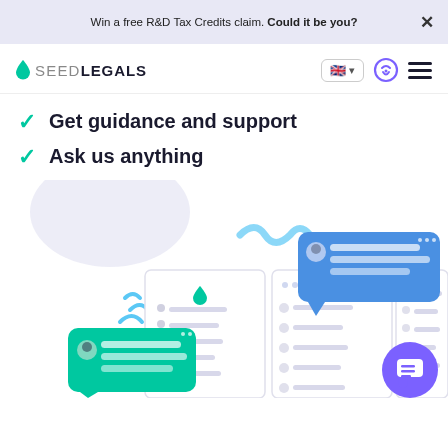Win a free R&D Tax Credits claim. Could it be you?
[Figure (logo): SeedLegals logo with teal droplet icon and navigation bar with UK flag, phone icon, and hamburger menu]
Get guidance and support
Ask us anything
[Figure (illustration): UI illustration showing SeedLegals platform interface with chat bubbles (green and blue), document/form screens, decorative shapes, and a purple chat widget button]